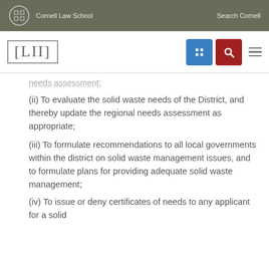Cornell Law School    Search Cornell
[Figure (logo): LII Legal Information Institute logo with navigation icons (grid icon in blue, search icon in red, hamburger menu)]
needs assessment;
(ii) To evaluate the solid waste needs of the District, and thereby update the regional needs assessment as appropriate;
(iii) To formulate recommendations to all local governments within the district on solid waste management issues, and to formulate plans for providing adequate solid waste management;
(iv) To issue or deny certificates of needs to any applicant for a solid